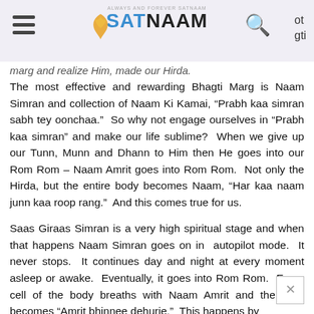SATNAAM - Always and Forever Satnaam
marg and realize Him, made our Hirda.
The most effective and rewarding Bhagti Marg is Naam Simran and collection of Naam Ki Kamai, “Prabh kaa simran sabh tey oonchaa.”  So why not engage ourselves in “Prabh kaa simran” and make our life sublime?  When we give up our Tunn, Munn and Dhann to Him then He goes into our Rom Rom – Naam Amrit goes into Rom Rom.  Not only the Hirda, but the entire body becomes Naam, “Har kaa naam junn kaa roop rang.”  And this comes true for us.
Saas Giraas Simran is a very high spiritual stage and when that happens Naam Simran goes on in  autopilot mode.  It never stops.  It continues day and night at every moment asleep or awake.  Eventually, it goes into Rom Rom.  Every cell of the body breaths with Naam Amrit and the Dehi becomes “Amrit bhinnee dehurie.”  This happens by